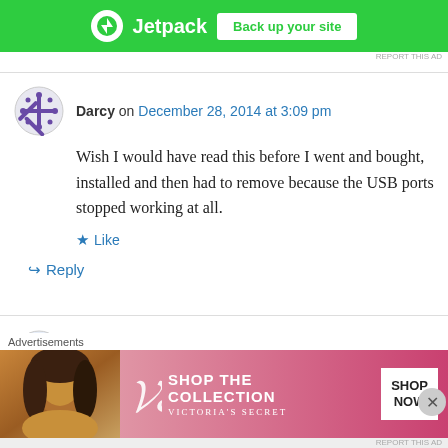[Figure (screenshot): Jetpack ad banner - green background with Jetpack logo and 'Back up your site' button]
REPORT THIS AD
Darcy on December 28, 2014 at 3:09 pm
Wish I would have read this before I went and bought, installed and then had to remove because the USB ports stopped working at all.
Like
Reply
Laurie Kinsman on January 7, 2015 at 10:27 pm
We installed in our kitchen drop zone with a light
Advertisements
[Figure (screenshot): Victoria's Secret advertisement - pink background with model, VS logo, 'SHOP THE COLLECTION' text and 'SHOP NOW' button]